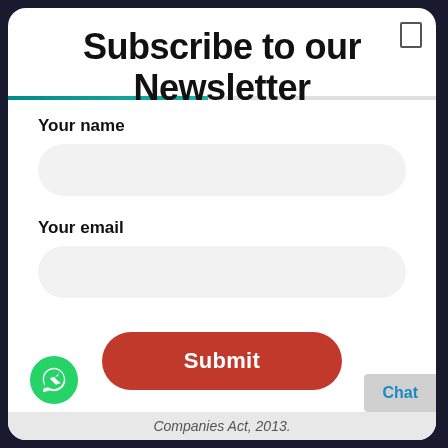Subscribe to our Newsletter
Your name
Your email
Submit
Companies Act, 2013.